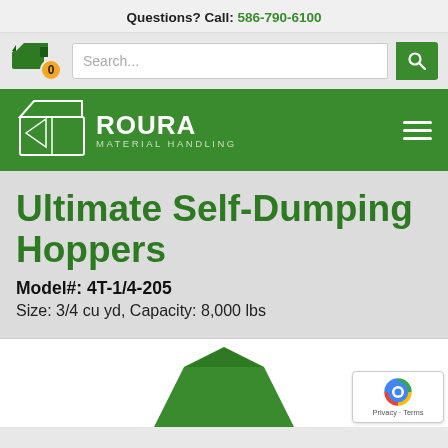Questions? Call: 586-790-6100
[Figure (screenshot): Roura Material Handling website header with cart icon, search bar, green navigation bar with logo and hamburger menu]
Ultimate Self-Dumping Hoppers
Model#: 4T-1/4-205
Size: 3/4 cu yd, Capacity: 8,000 lbs
[Figure (photo): Partial product image of green self-dumping hopper, with reCAPTCHA privacy badge overlay]